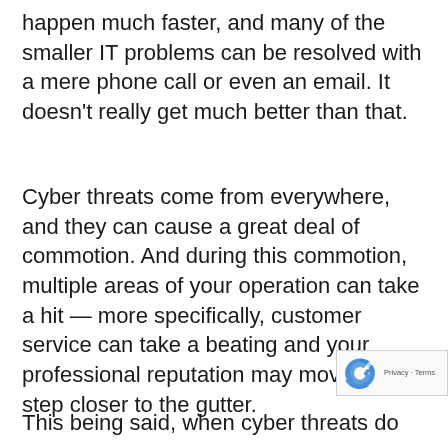happen much faster, and many of the smaller IT problems can be resolved with a mere phone call or even an email. It doesn't really get much better than that.
Cyber threats come from everywhere, and they can cause a great deal of commotion. And during this commotion, multiple areas of your operation can take a hit — more specifically, customer service can take a beating and your professional reputation may move one step closer to the gutter.
This being said, when cyber threats do